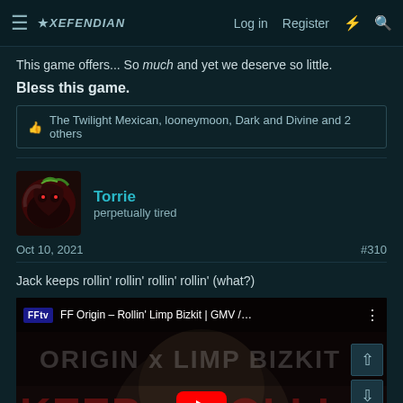Log in  Register
This game offers... So much and yet we deserve so little.
Bless this game.
The Twilight Mexican, looneymoon, Dark and Divine and 2 others
Torrie
perpetually tired
Oct 10, 2021  #310
Jack keeps rollin' rollin' rollin' rollin' (what?)
[Figure (screenshot): YouTube video embed showing FF Origin - Rollin' Limp Bizkit GMV with ORIGIN x LIMP BIZKIT overlay text and KEEP ROLLIN' text, with red YouTube play button visible]